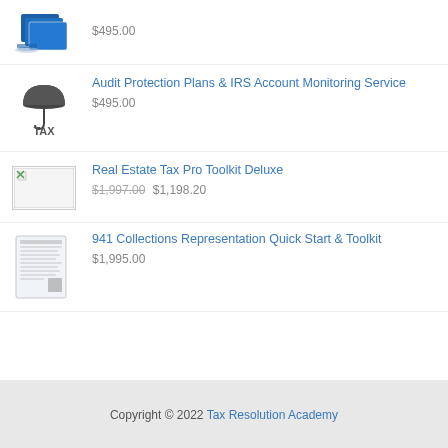[Figure (illustration): Product image - blue software box/CD set]
$495.00
[Figure (illustration): TAX umbrella logo - black umbrella with TAX text]
Audit Protection Plans & IRS Account Monitoring Service
$495.00
[Figure (illustration): Real estate tax document placeholder image]
Real Estate Tax Pro Toolkit Deluxe
$1,997.00 $1,198.20
[Figure (illustration): 941 form document thumbnail]
941 Collections Representation Quick Start & Toolkit
$1,995.00
Copyright © 2022 Tax Resolution Academy